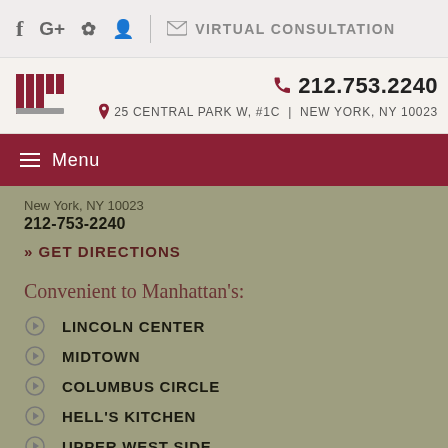f G+ yelp icon | VIRTUAL CONSULTATION
212.753.2240 | 25 CENTRAL PARK W, #1C | NEW YORK, NY 10023
≡ Menu
New York, NY 10023
212-753-2240
» GET DIRECTIONS
Convenient to Manhattan's:
LINCOLN CENTER
MIDTOWN
COLUMBUS CIRCLE
HELL'S KITCHEN
UPPER WEST SIDE